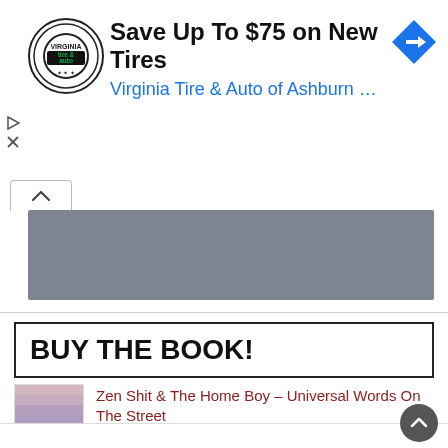[Figure (screenshot): Advertisement banner: Virginia Tire & Auto logo (circular black and white with green 'tire & auto' text), headline 'Save Up To $75 on New Tires', subtitle 'Virginia Tire & Auto of Ashburn …', and a blue navigation arrow diamond icon on the right. Small play and close icons on the left.]
[Figure (screenshot): Gray collapsed content area with a white upward-chevron tab at the top-left corner.]
BUY THE BOOK!
[Figure (photo): Book cover thumbnail for 'Zen Shit & The Home Boy – Universal Words On The Street', showing a landscape with pink/purple cloudy sky, and text overlay at the bottom.]
Zen Shit & The Home Boy – Universal Words On The Street